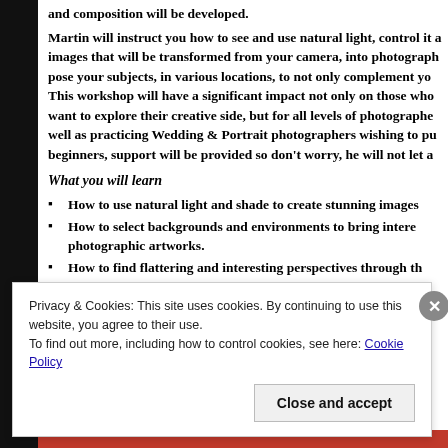and composition will be developed.
Martin will instruct you how to see and use natural light, control it a images that will be transformed from your camera, into photograph pose your subjects, in various locations, to not only complement yo This workshop will have a significant impact not only on those who want to explore their creative side, but for all levels of photographe well as practicing Wedding & Portrait photographers wishing to pu beginners, support will be provided so don't worry, he will not let a
What you will learn
How to use natural light and shade to create stunning images
How to select backgrounds and environments to bring intere photographic artworks.
How to find flattering and interesting perspectives through th physiognomy.
Which lens(es) to choose and why.
Effective techniques to create a rapport with your subject
Privacy & Cookies: This site uses cookies. By continuing to use this website, you agree to their use.
To find out more, including how to control cookies, see here: Cookie Policy
Close and accept